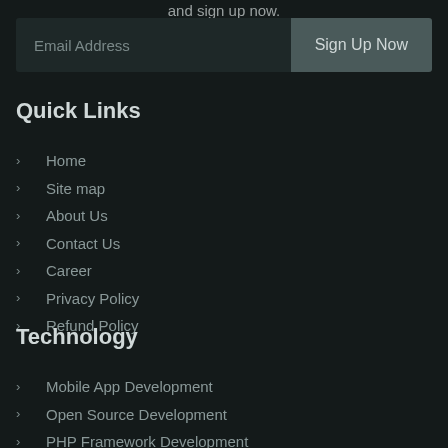and sign up now.
Email Address | Sign Up Now
Quick Links
Home
Site map
About Us
Contact Us
Career
Privacy Policy
Refund Policy
Technology
Mobile App Development
Open Source Development
PHP Framework Development